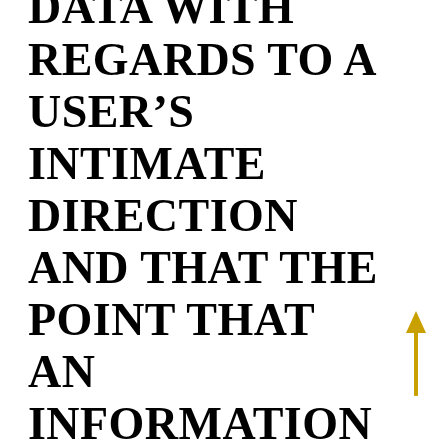DATA WITH REGARDS TO A USER'S INTIMATE DIRECTION AND THAT THE POINT THAT AN INFORMATION SUBJECT IS ACTUALLY A GRINDR CONSUMER CANNOT QUALIFY AS INFORMATION WITH REGARDS TO A
[Figure (illustration): A gold/yellow upward-pointing arrow on the right side of the page]